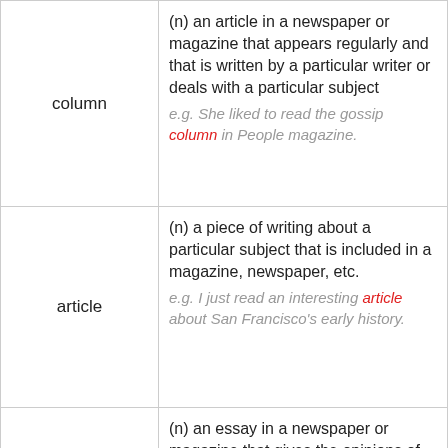| Term | Definition |
| --- | --- |
| column | (n) an article in a newspaper or magazine that appears regularly and that is written by a particular writer or deals with a particular subject
e.g. She liked to read the gossip column in People magazine. |
| article | (n) a piece of writing about a particular subject that is included in a magazine, newspaper, etc.
e.g. I just read an interesting article about San Francisco's early history. |
| editorial | (n) an essay in a newspaper or magazine that gives the opinions of its editors or publishers
e.g. The paper published an editorial strongly criticizing the mayor's actions. |